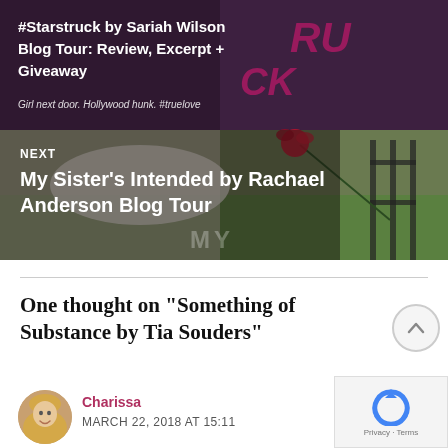[Figure (screenshot): Blog navigation banner showing two sections: top section with dark purple/maroon overlay showing '#Starstruck by Sariah Wilson Blog Tour: Review, Excerpt + Giveaway' title in white on a book cover background; bottom section showing a cemetery/garden photo with a red rose, labeled 'NEXT' with title 'My Sister's Intended by Rachael Anderson Blog Tour' in white text, and faint 'MY' watermark]
One thought on “Something of Substance by Tia Souders”
[Figure (photo): Circular avatar photo of a blonde woman smiling]
Charissa
MARCH 22, 2018 AT 15:11
[Figure (other): reCAPTCHA widget with Privacy - Terms text]